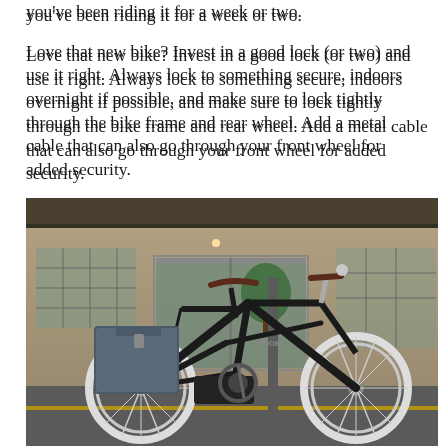you've been riding it for a week or two.
Love that new bike? Invest in a good lock (or two) and use it right. Always lock to something secure, indoors overnight if possible, and make sure to lock tightly through the bike frame and rear wheel. Add a metal cable that can also go through your front wheel for added security.
[Figure (photo): A black vintage-style city bicycle with a brown leather saddle, pannier bag on the rear rack, and white-walled tires, locked to a pole outside a building with glass doors and a covered entrance.]